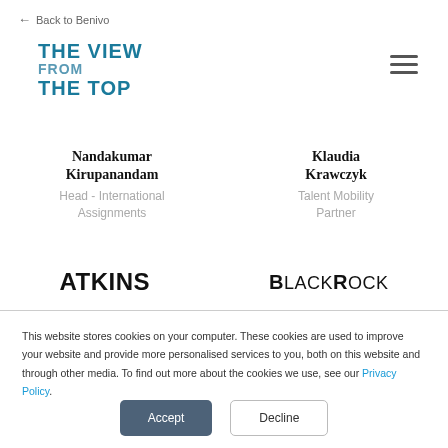← Back to Benivo
THE VIEW FROM THE TOP
Nandakumar Kirupanandam
Head - International Assignments
Klaudia Krawczyk
Talent Mobility Partner
[Figure (logo): ATKINS company logo in bold black text]
[Figure (logo): BLACKROCK company logo in bold black text]
This website stores cookies on your computer. These cookies are used to improve your website and provide more personalised services to you, both on this website and through other media. To find out more about the cookies we use, see our Privacy Policy.
Accept
Decline